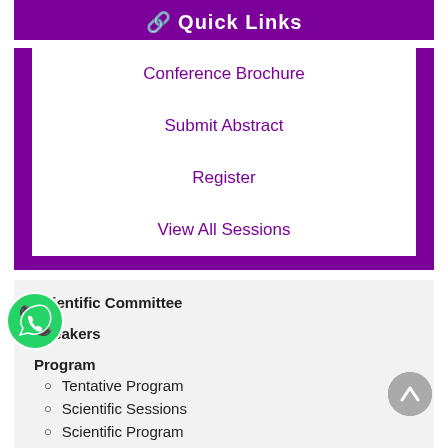Quick Links
Conference Brochure
Submit Abstract
Register
View All Sessions
Scientific Committee
Speakers
Program
Tentative Program
Scientific Sessions
Scientific Program
Information
Guidelines